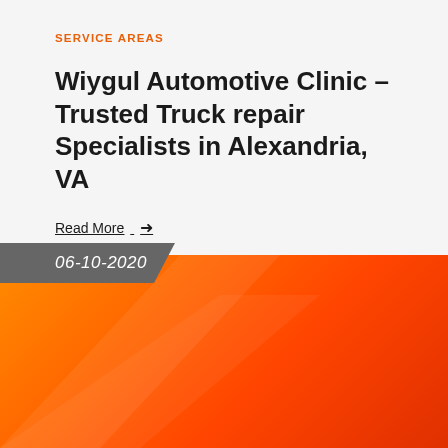SERVICE AREAS
Wiygul Automotive Clinic – Trusted Truck repair Specialists in Alexandria, VA
Read More →
06-10-2020
[Figure (illustration): Orange-red gradient background with decorative diagonal light shapes in the lower portion of the card]